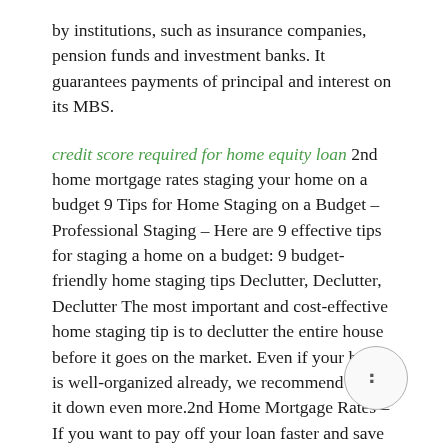by institutions, such as insurance companies, pension funds and investment banks. It guarantees payments of principal and interest on its MBS.
credit score required for home equity loan 2nd home mortgage rates staging your home on a budget 9 Tips for Home Staging on a Budget – Professional Staging – Here are 9 effective tips for staging a home on a budget: 9 budget-friendly home staging tips Declutter, Declutter, Declutter The most important and cost-effective home staging tip is to declutter the entire house before it goes on the market. Even if your home is well-organized already, we recommend paring it down even more.2nd Home Mortgage Rates – If you want to pay off your loan faster and save thousands of dollars in interest rate you can refinance your mortgage to a shorter term. consolidate home loans mortgage payment relief buying